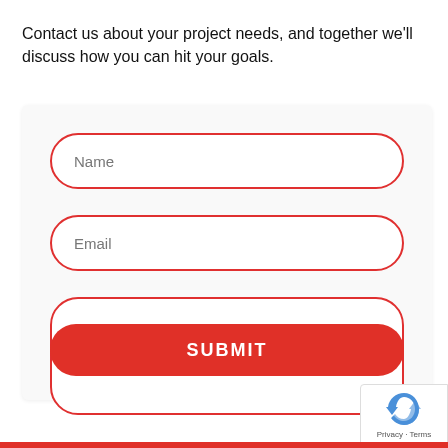Contact us about your project needs, and together we’ll discuss how you can hit your goals.
Name
Email
How can we help?
SUBMIT
Privacy · Terms